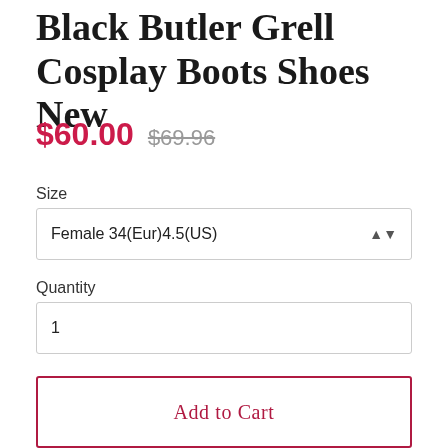Black Butler Grell Cosplay Boots Shoes New
$60.00  $69.96
Size
Female 34(Eur)4.5(US)
Quantity
1
Add to Cart